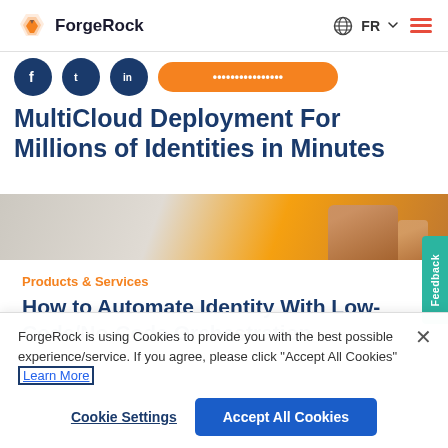ForgeRock  FR
[Figure (screenshot): Social media share icons (Facebook, Twitter, LinkedIn circles in dark blue) and an orange rounded button partially visible]
MultiCloud Deployment For Millions of Identities in Minutes
[Figure (photo): Partial hero image showing hands on orange background]
Products & Services
How to Automate Identity With Low-Code/No-Code Orchestration
ForgeRock is using Cookies to provide you with the best possible experience/service. If you agree, please click "Accept All Cookies" Learn More
Cookie Settings
Accept All Cookies